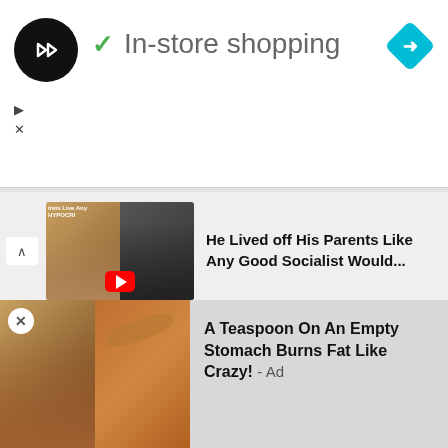[Figure (screenshot): Ad banner: logo circle with arrow icon, green checkmark and 'In-store shopping' text, blue diamond navigation icon, play and close controls]
[Figure (screenshot): YouTube video thumbnail collage: two faces, HYPOCRI text overlay, red YouTube play button]
He Lived off His Parents Like Any Good Socialist Would...
[Figure (screenshot): YouTube video thumbnail: street scene with 'P OR BIDEN?' text, smiling young man face, red YouTube play button]
WATCH: 'Street Poller' gets TRUTH from Americans & goes viral...
[Figure (photo): Bottom ad image: fitness woman and spice/powder with spoon]
A Teaspoon On An Empty Stomach Burns Fat Like Crazy! - Ad